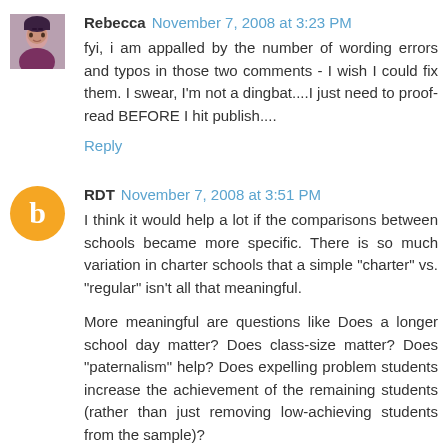Rebecca  November 7, 2008 at 3:23 PM
fyi, i am appalled by the number of wording errors and typos in those two comments - I wish I could fix them. I swear, I'm not a dingbat....I just need to proof-read BEFORE I hit publish....
Reply
RDT  November 7, 2008 at 3:51 PM
I think it would help a lot if the comparisons between schools became more specific. There is so much variation in charter schools that a simple "charter" vs. "regular" isn't all that meaningful.
More meaningful are questions like Does a longer school day matter? Does class-size matter? Does "paternalism" help? Does expelling problem students increase the achievement of the remaining students (rather than just removing low-achieving students from the sample)?
If expelling difficult students really helps the students who